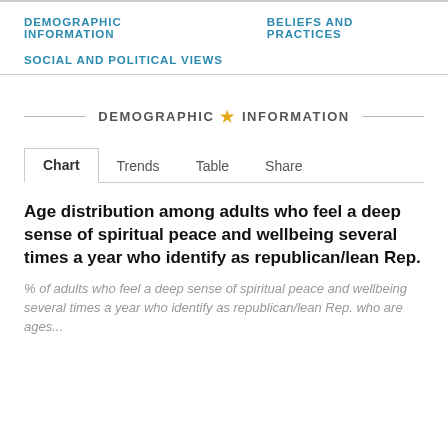DEMOGRAPHIC INFORMATION    BELIEFS AND PRACTICES
SOCIAL AND POLITICAL VIEWS
DEMOGRAPHIC ★ INFORMATION
Chart   Trends   Table   Share
Age distribution among adults who feel a deep sense of spiritual peace and wellbeing several times a year who identify as republican/lean Rep.
% of adults who feel a deep sense of spiritual peace and wellbeing several times a year who identify as republican/lean Rep. who are ages...